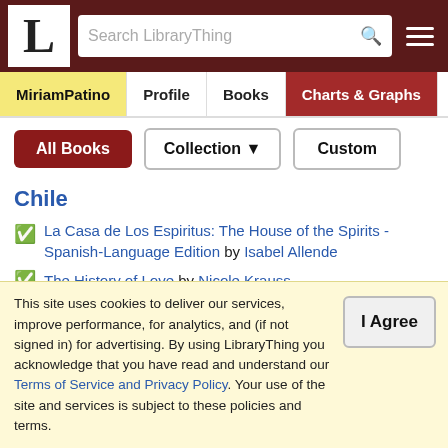LibraryThing - MiriamPatino - Charts & Graphs
MiriamPatino | Profile | Books | Charts & Graphs | Reviews
All Books | Collection ▼ | Custom
Chile
La Casa de Los Espiritus: The House of the Spirits - Spanish-Language Edition by Isabel Allende
The History of Love by Nicole Krauss
Choctaw, Alabama, USA
Breakheart Hill by Thomas H. Cook
This site uses cookies to deliver our services, improve performance, for analytics, and (if not signed in) for advertising. By using LibraryThing you acknowledge that you have read and understand our Terms of Service and Privacy Policy. Your use of the site and services is subject to these policies and terms.